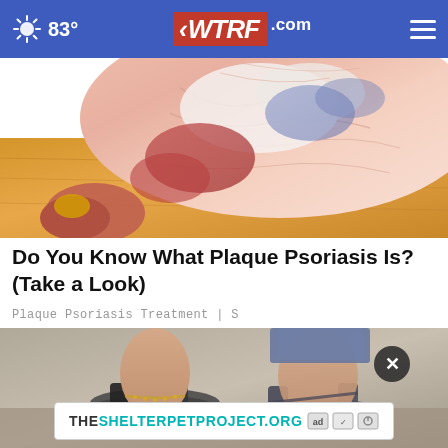83° WTRF.com
[Figure (photo): Close-up photo of a human foot/ankle showing red and white scaly skin lesions characteristic of plaque psoriasis on a wooden floor background]
Do You Know What Plaque Psoriasis Is? (Take a Look)
Plaque Psoriasis Treatment | S
[Figure (photo): Photo of feet wearing sandals with an anklet bracelet, on a blurry outdoor background]
[Figure (screenshot): Advertisement banner for THESHELTERPETPROJECT.ORG with ad network icons]